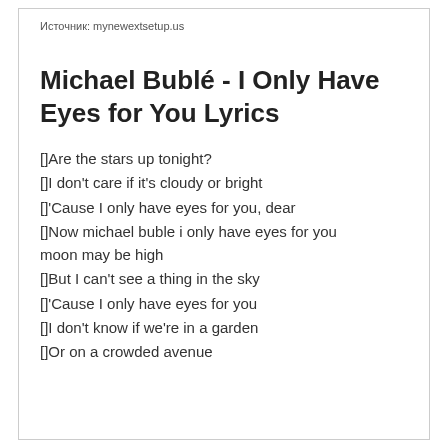Источник: mynewextsetup.us
Michael Bublé - I Only Have Eyes for You Lyrics
[]Are the stars up tonight?
[]I don't care if it's cloudy or bright
[]'Cause I only have eyes for you, dear
[]Now michael buble i only have eyes for you moon may be high
[]But I can't see a thing in the sky
[]'Cause I only have eyes for you
[]I don't know if we're in a garden
[]Or on a crowded avenue